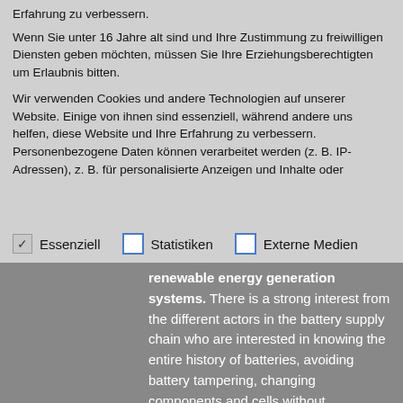Erfahrung zu verbessern.
Wenn Sie unter 16 Jahre alt sind und Ihre Zustimmung zu freiwilligen Diensten geben möchten, müssen Sie Ihre Erziehungsberechtigten um Erlaubnis bitten.
Wir verwenden Cookies und andere Technologien auf unserer Website. Einige von ihnen sind essenziell, während andere uns helfen, diese Website und Ihre Erfahrung zu verbessern. Personenbezogene Daten können verarbeitet werden (z. B. IP-Adressen), z. B. für personalisierte Anzeigen und Inhalte oder
✓ Essenziell
☐ Statistiken
☐ Externe Medien
Batteries are energy storage devices that are present in several applications, such as: cell phones, notebooks, electric vehicles, in renewable energy generation systems. There is a strong interest from the different actors in the battery supply chain who are interested in knowing the entire history of batteries, avoiding battery tampering, changing components and cells without authorization and inspection, which can cause batteries to lose their certification and warranty.